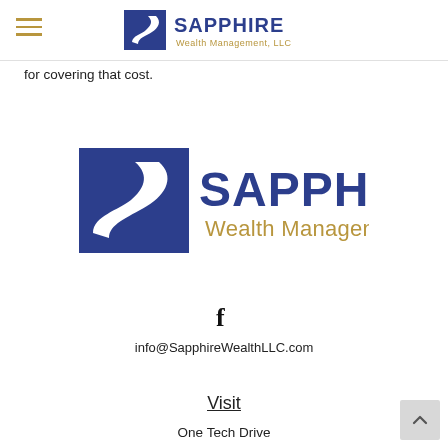Sapphire Wealth Management, LLC
for covering that cost.
[Figure (logo): Sapphire Wealth Management, LLC logo — large centered version with blue S-shape icon and blue/gold text]
[Figure (logo): Facebook icon (f) centered]
info@SapphireWealthLLC.com
Visit
One Tech Drive